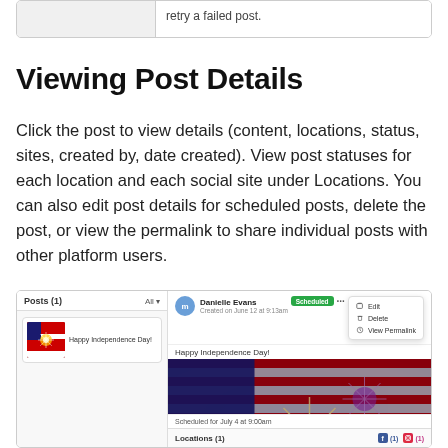|  |  |
| --- | --- |
|  | retry a failed post. |
Viewing Post Details
Click the post to view details (content, locations, status, sites, created by, date created). View post statuses for each location and each social site under Locations. You can also edit post details for scheduled posts, delete the post, or view the permalink to share individual posts with other platform users.
[Figure (screenshot): Screenshot of a social media post management interface showing a post list on the left with 'Happy Independence Day!' post, and on the right a detailed view with user 'Danielle Evans', 'Scheduled' badge, a dropdown menu with Edit, Delete, View Permalink options, post content, American flag with fireworks image, scheduled date text, and a Locations bar at the bottom with Facebook and Instagram icons.]